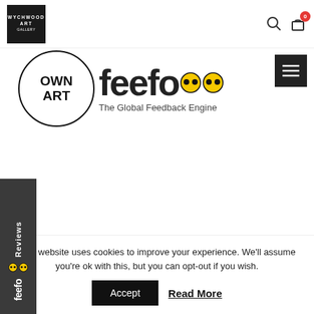[Figure (logo): Wychwood Art Gallery logo - white text on black square background]
[Figure (logo): Own Art circle logo with bold OWN ART text and Feefo The Global Feedback Engine logo with yellow smiley eyes]
[Figure (logo): Feefo Reviews sidebar widget - dark grey vertical bar with Reviews text rotated, feefo logo and yellow eyes]
ABOUT US
About
Search for Artists
Contact
This website uses cookies to improve your experience. We'll assume you're ok with this, but you can opt-out if you wish.
Accept
Read More